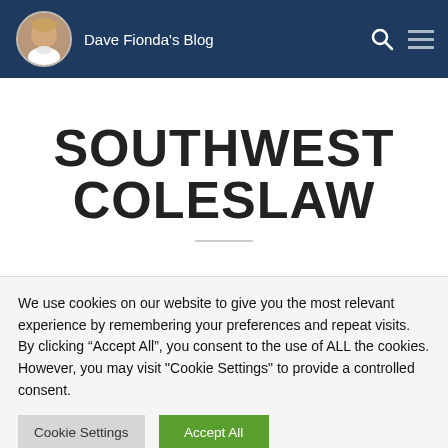Dave Fionda's Blog
SOUTHWEST COLESLAW
We use cookies on our website to give you the most relevant experience by remembering your preferences and repeat visits. By clicking “Accept All”, you consent to the use of ALL the cookies. However, you may visit "Cookie Settings" to provide a controlled consent.
Cookie Settings | Accept All